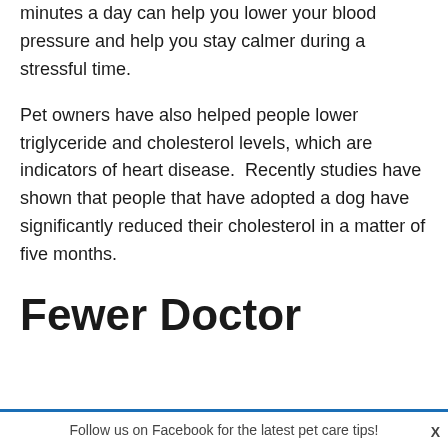minutes a day can help you lower your blood pressure and help you stay calmer during a stressful time.
Pet owners have also helped people lower triglyceride and cholesterol levels, which are indicators of heart disease.  Recently studies have shown that people that have adopted a dog have significantly reduced their cholesterol in a matter of five months.
Fewer Doctor
Follow us on Facebook for the latest pet care tips!